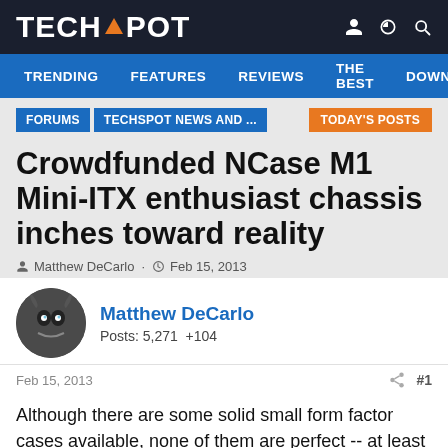TECHSPOT
TRENDING  FEATURES  REVIEWS  THE BEST  DOWNLC
FORUMS  TECHSPOT NEWS AND ...  TODAY'S POSTS
Crowdfunded NCase M1 Mini-ITX enthusiast chassis inches toward reality
Matthew DeCarlo · Feb 15, 2013
Matthew DeCarlo
Posts: 5,271  +104
Feb 15, 2013  #1
Although there are some solid small form factor cases available, none of them are perfect -- at least not if you're